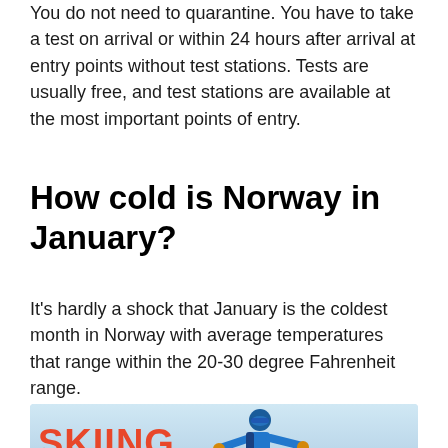You do not need to quarantine. You have to take a test on arrival or within 24 hours after arrival at entry points without test stations. Tests are usually free, and test stations are available at the most important points of entry.
How cold is Norway in January?
It's hardly a shock that January is the coldest month in Norway with average temperatures that range within the 20-30 degree Fahrenheit range.
[Figure (photo): Banner image showing a skier in a blue jacket with arms outstretched against a snowy mountainous background. Large red text reads 'SKIING IN' on the left side.]